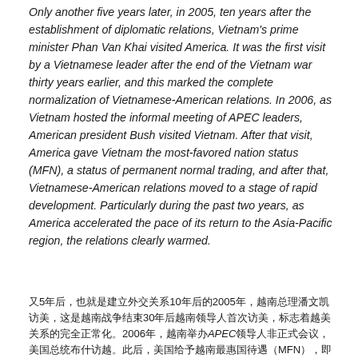Only another five years later, in 2005, ten years after the establishment of diplomatic relations, Vietnam's prime minister Phan Van Khai visited America. It was the first visit by a Vietnamese leader after the end of the Vietnam war thirty years earlier, and this marked the complete normalization of Vietnamese-American relations. In 2006, as Vietnam hosted the informal meeting of APEC leaders, American president Bush visited Vietnam. After that visit, America gave Vietnam the most-favored nation status (MFN), a status of permanent normal trading, and after that, Vietnamese-American relations moved to a stage of rapid development. Particularly during the past two years, as America accelerated the pace of its return to the Asia-Pacific region, the relations clearly warmed.
又5年后，也就是建立外交关系10年后的2005年，越南总理潘文凯访美，这是越南战争结束30年后越南领导人首次访美，标志着越美关系的完全正常化。2006年，越南举办APEC领导人非正式会议，美国总统布什访越。此后，美国给予越南最惠国待遇（MFN），即永久正常贸易地位，越美关系进入快速发展阶段。特别是近两年，随着美国加快重返亚太地区的步伐，两国关系明显升温。